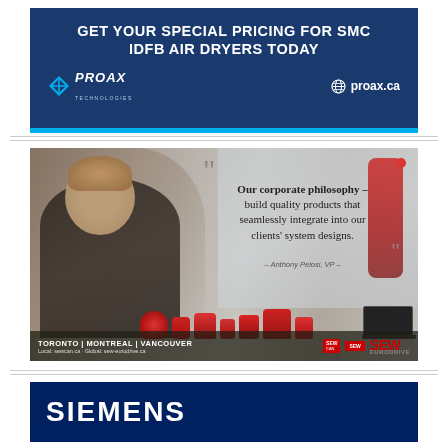[Figure (illustration): Proax Technologies advertisement: dark blue background with cyan bottom border. Header text 'GET YOUR SPECIAL PRICING FOR SMC IDFB AIR DRYERS TODAY'. Proax Technologies logo on lower left, proax.ca URL with globe icon on lower right.]
[Figure (photo): SEW-Eurodrive advertisement featuring a man in a black shirt with crossed arms, industrial background with red robot arm. Quote: 'Our corporate philosophy – build quality products that seamlessly integrate into our clients' system designs.' attributed to Anthony Pelosi, VP. Footer shows TORONTO | MONTREAL | VANCOUVER, sewcan.ca, sew-eurodrive.ca. SEW Eurodrive logo bottom right.]
[Figure (illustration): Siemens advertisement: dark navy blue background with white bold text 'SIEMENS' in large uppercase letters.]